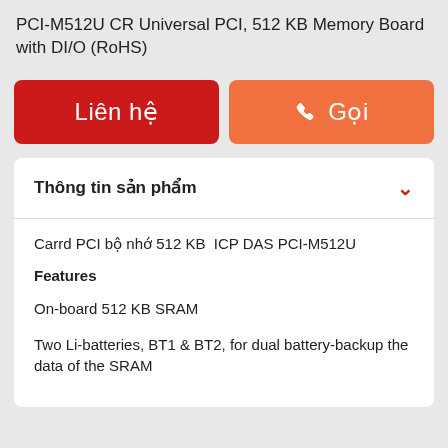PCI-M512U CR Universal PCI, 512 KB Memory Board with DI/O (RoHS)
[Figure (other): Two buttons: red 'Liên hệ' (Contact) button and orange 'Gọi' (Call) button with phone icon]
Thông tin sản phẩm
Carrd PCI bộ nhớ 512 KB  ICP DAS PCI-M512U
Features
On-board 512 KB SRAM
Two Li-batteries, BT1 & BT2, for dual battery-backup the data of the SRAM